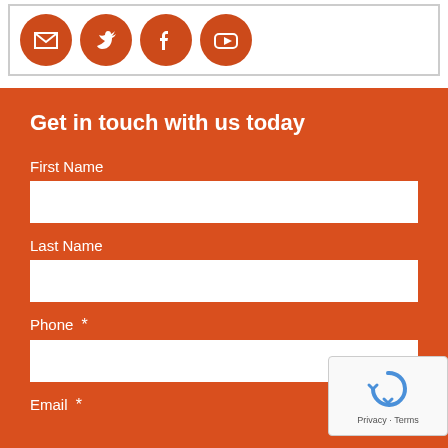[Figure (illustration): Social media icons (email, Twitter, Facebook, YouTube) as orange circles, partially visible at top of page inside a white bordered container]
Get in touch with us today
First Name
Last Name
Phone *
Email *
[Figure (other): reCAPTCHA badge with circular arrow icon and 'Privacy · Terms' text]